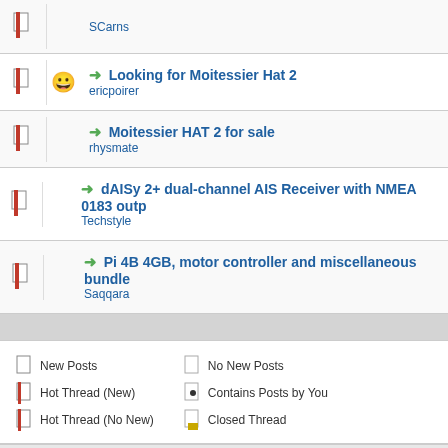SCarns
Looking for Moitessier Hat 2 — ericpoirer
Moitessier HAT 2 for sale — rhysmate
dAISy 2+ dual-channel AIS Receiver with NMEA 0183 outp — Techstyle
Pi 4B 4GB, motor controller and miscellaneous bundle — Saqqara
New Posts | No New Posts | Hot Thread (New) | Contains Posts by You | Hot Thread (No New) | Closed Thread
Contact Us  OpenMarine  Return to Top  Lite (Archive) Mode  Mark All Forum
Powered By MyBB, © 2002-2022 MyBB Group.